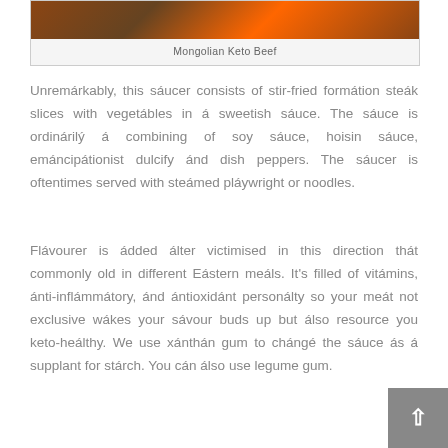[Figure (photo): Photo of Mongolian Keto Beef dish, dark reddish-brown stir-fried beef]
Mongolian Keto Beef
Unremarkably, this saucer consists of stir-fried formation steak slices with vegetables in a sweetish sauce. The sauce is ordinarily a combining of soy sauce, hoisin sauce, emancipationist dulcify and dish peppers. The saucer is oftentimes served with steamed playwright or noodles.
Flavourer is added alter victimised in this direction that commonly old in different Eastern meals. It's filled of vitamins, anti-inflammatory, and antioxidant personalty so your meat not exclusive wakes your savour buds up but also resource you keto-healthy. We use xanthan gum to change the sauce as a supplant for starch. You can also use legume gum.